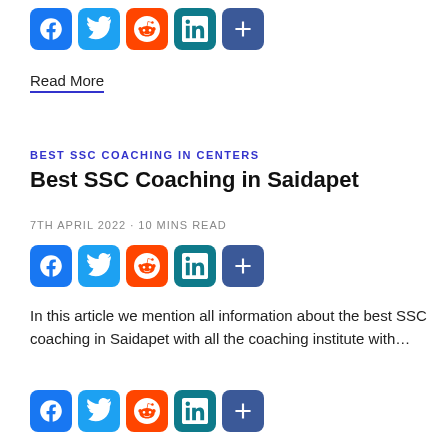[Figure (other): Social share icons row: Facebook (blue), Twitter (blue), Reddit (orange), LinkedIn (teal), Share/Plus (blue)]
Read More
BEST SSC COACHING IN CENTERS
Best SSC Coaching in Saidapet
7TH APRIL 2022 - 10 MINS READ
[Figure (other): Social share icons row: Facebook (blue), Twitter (blue), Reddit (orange), LinkedIn (teal), Share/Plus (blue)]
In this article we mention all information about the best SSC coaching in Saidapet with all the coaching institute with…
[Figure (other): Social share icons row: Facebook (blue), Twitter (blue), Reddit (orange), LinkedIn (teal), Share/Plus (blue)]